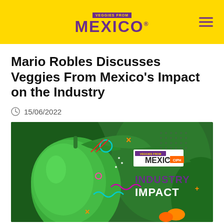VEGGIES FROM MEXICO
Mario Robles Discusses Veggies From Mexico's Impact on the Industry
15/06/2022
[Figure (photo): Green bell pepper on plant with colorful graphic decorations and 'INDUSTRY IMPACT' overlay text, Veggies from Mexico and CIPH logos visible]